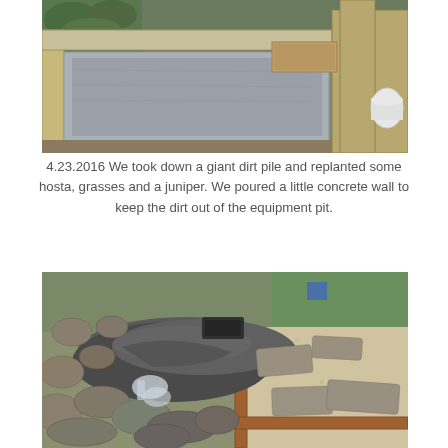[Figure (photo): Construction photo showing pressure-treated lumber forming a rectangular trough or channel with fresh concrete poured inside. A concrete block step is visible at one end. Soil and plants visible in the background.]
4.23.2016 We took down a giant dirt pile and replanted some hosta, grasses and a juniper. We poured a little concrete wall to keep the dirt out of the equipment pit.
[Figure (photo): Outdoor landscape construction photo showing large flat stones arranged around a water feature or stream bed, with gravel areas and wooden edging. Grass and scattered rocks and plants visible in background.]